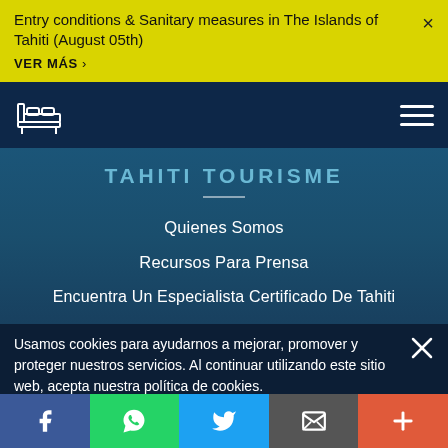Entry conditions & Sanitary measures in The Islands of Tahiti (August 05th)
VER MÁS ›
[Figure (screenshot): Navigation header bar with bed icon logo on left and hamburger menu on right, dark navy background]
TAHITI TOURISME
Quienes Somos
Recursos Para Prensa
Encuentra Un Especialista Certificado De Tahiti
Usamos cookies para ayudarnos a mejorar, promover y proteger nuestros servicios. Al continuar utilizando este sitio web, acepta nuestra política de cookies.
Social share bar: Facebook, WhatsApp, Twitter, Email, More